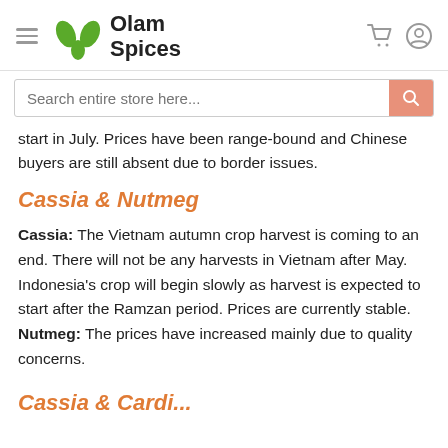Olam Spices
start in July. Prices have been range-bound and Chinese buyers are still absent due to border issues.
Cassia & Nutmeg
Cassia: The Vietnam autumn crop harvest is coming to an end. There will not be any harvests in Vietnam after May. Indonesia's crop will begin slowly as harvest is expected to start after the Ramzan period. Prices are currently stable. Nutmeg: The prices have increased mainly due to quality concerns.
Cassia & Carda...